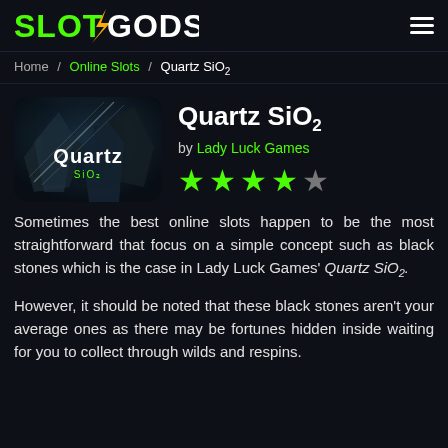SLOTGODS
Home / Online Slots / Quartz SiO2
[Figure (screenshot): Quartz SiO2 slot game thumbnail showing the word Quartz with SiO2 subtitle on a dark background with sharp stone/crystal imagery]
Quartz SiO2
by Lady Luck Games
[Figure (other): 4 out of 5 star rating shown as green filled stars and one grey empty star]
Sometimes the best online slots happen to be the most straightforward that focus on a simple concept such as black stones which is the case in Lady Luck Games' Quartz SiO2.
However, it should be noted that these black stones aren't your average ones as there may be fortunes hidden inside waiting for you to collect through wilds and respins.